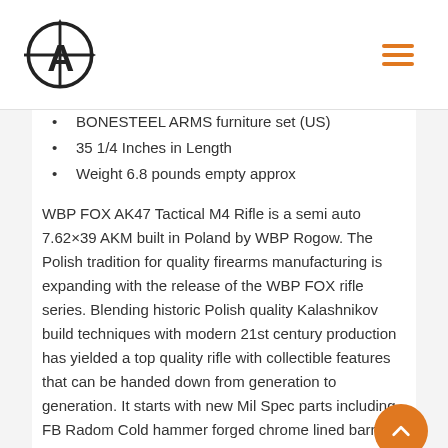BONESTEEL ARMS furniture set (US)
35 1/4 Inches in Length
Weight  6.8 pounds empty approx
WBP FOX AK47 Tactical M4 Rifle is a semi auto 7.62×39 AKM built in Poland by WBP Rogow. The Polish tradition for quality firearms manufacturing is expanding with the release of the WBP FOX rifle series. Blending historic Polish quality Kalashnikov build techniques with modern 21st century production has yielded a top quality rifle with collectible features that can be handed down from generation to generation. It starts with new Mil Spec parts including FB Radom Cold hammer forged chrome lined barrel, Forged barrel trunnion and Polish receiver made on original FB Radom tooling & AKX Muzzle brake. These key quality features are the building blocks that the WBP technicians